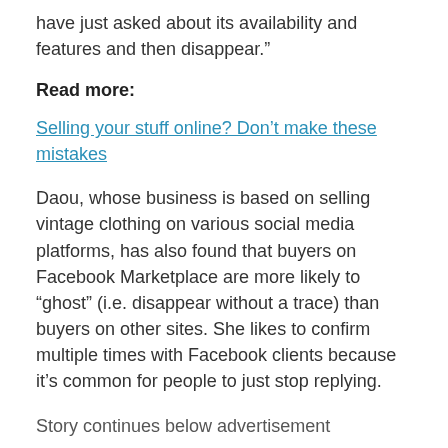have just asked about its availability and features and then disappear.”
Read more:
Selling your stuff online? Don’t make these mistakes
Daou, whose business is based on selling vintage clothing on various social media platforms, has also found that buyers on Facebook Marketplace are more likely to “ghost” (i.e. disappear without a trace) than buyers on other sites. She likes to confirm multiple times with Facebook clients because it’s common for people to just stop replying.
Story continues below advertisement